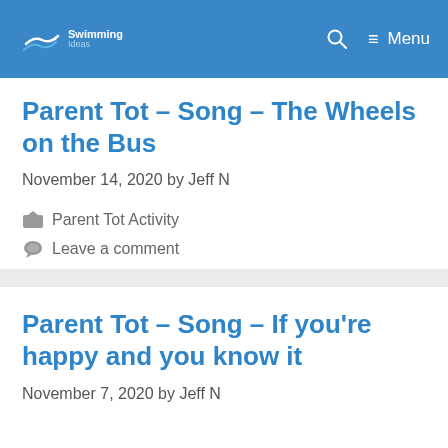SwimmingIdeas — Menu
Parent Tot – Song – The Wheels on the Bus
November 14, 2020 by Jeff N
Parent Tot Activity
Leave a comment
Parent Tot – Song – If you're happy and you know it
November 7, 2020 by Jeff N